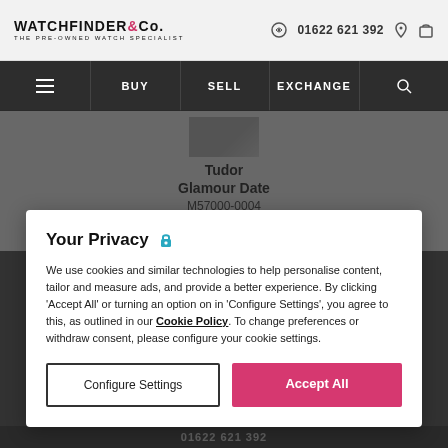WATCHFINDER & Co. THE PRE-OWNED WATCH SPECIALIST | 01622 621 392
BUY  SELL  EXCHANGE
[Figure (photo): Partial product image of watch]
Tudor
Glamour Date
M57000-0004
Find This Watch
Your Privacy
We use cookies and similar technologies to help personalise content, tailor and measure ads, and provide a better experience. By clicking 'Accept All' or turning an option on in 'Configure Settings', you agree to this, as outlined in our Cookie Policy. To change preferences or withdraw consent, please configure your cookie settings.
Configure Settings
Accept All
01622 621 392